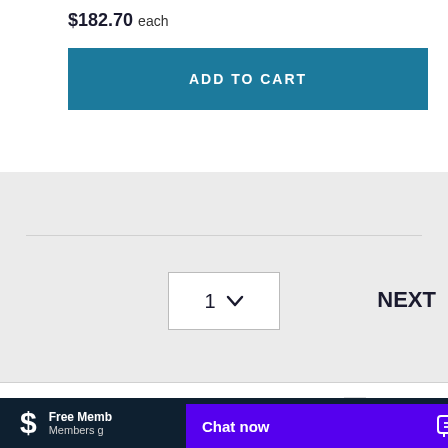$182.70 each
ADD TO CART
1
NEXT
[Figure (logo): Armstrong Monitoring logo]
[Figure (logo): Belimo logo]
[Figure (logo): Cleveland Controls logo]
Free Memb...
Members g...
Chat now